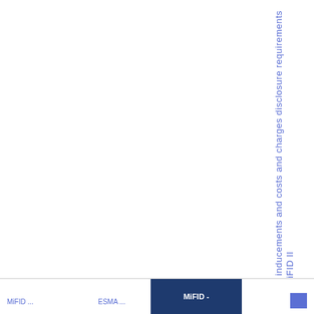ct of the inducements and costs and charges disclosure requirements under MiFID II
MiFID -